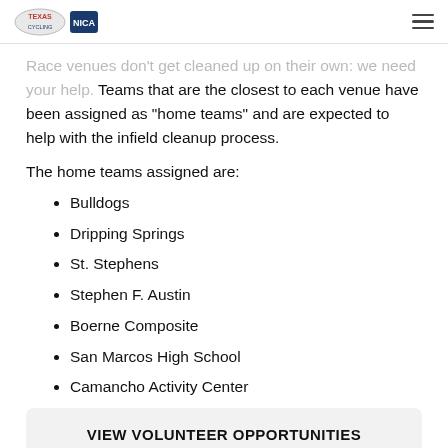[Texas NICA logo] [NICA logo] [hamburger menu]
Race venues don't get cleaned up on their own: we need your help. Teams that are the closest to each venue have been assigned as “home teams” and are expected to help with the infield cleanup process.
The home teams assigned are:
Bulldogs
Dripping Springs
St. Stephens
Stephen F. Austin
Boerne Composite
San Marcos High School
Camancho Activity Center
VIEW VOLUNTEER OPPORTUNITIES
NICA RACE VOLUNTEER GUIDELINES